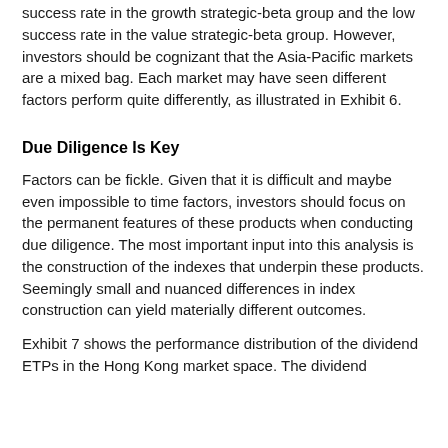success rate in the growth strategic-beta group and the low success rate in the value strategic-beta group. However, investors should be cognizant that the Asia-Pacific markets are a mixed bag. Each market may have seen different factors perform quite differently, as illustrated in Exhibit 6.
Due Diligence Is Key
Factors can be fickle. Given that it is difficult and maybe even impossible to time factors, investors should focus on the permanent features of these products when conducting due diligence. The most important input into this analysis is the construction of the indexes that underpin these products. Seemingly small and nuanced differences in index construction can yield materially different outcomes.
Exhibit 7 shows the performance distribution of the dividend ETPs in the Hong Kong market space. The dividend...